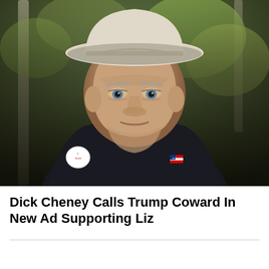[Figure (photo): Close-up photograph of an elderly man wearing a white cowboy hat and dark fleece vest over a light blue collared shirt. He has a serious expression, looking slightly downward. He wears an 'I Voted' sticker on his left chest and an American flag pin on his right chest. Background shows blurred green trees (aspens). The man is Dick Cheney.]
Dick Cheney Calls Trump Coward In New Ad Supporting Liz